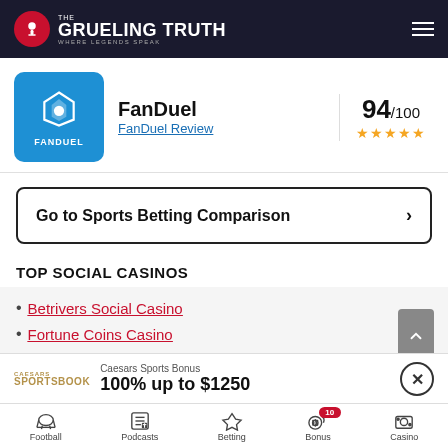The Grueling Truth — Where Legends Speak
[Figure (logo): FanDuel logo — blue square with shield icon and FanDuel text]
FanDuel
FanDuel Review
94/100 ★★★★★
Go to Sports Betting Comparison
TOP SOCIAL CASINOS
Betrivers Social Casino
Fortune Coins Casino
Caesars Sports Bonus
100% up to $1250
Football | Podcasts | Betting | Bonus 10 | Casino